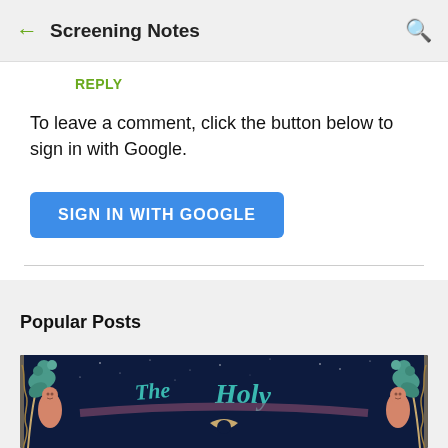← Screening Notes 🔍
REPLY
To leave a comment, click the button below to sign in with Google.
SIGN IN WITH GOOGLE
Popular Posts
[Figure (illustration): Decorative Art Nouveau style movie poster illustration showing ornate frame elements on left and right with floral/figure details, dark blue starry background, and stylized text 'The Holy' in teal lettering with a crescent moon below]